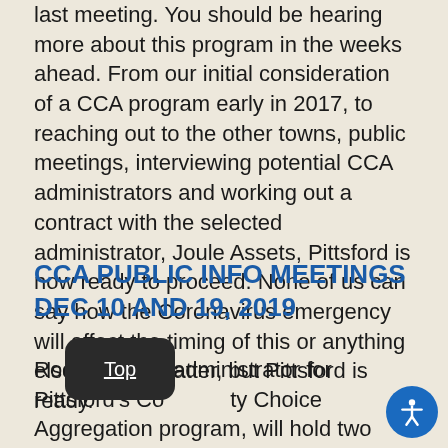last meeting. You should be hearing more about this program in the weeks ahead. From our initial consideration of a CCA program early in 2017, to reaching out to the other towns, public meetings, interviewing potential CCA administrators and working out a contract with the selected administrator, Joule Assets, Pittsford is now ready to proceed. None of us can say how the Coronavirus emergency will affect the timing of this or anything else for that matter, but Pittsford is ready.
CCA PUBLIC INFO MEETINGS DEC 10 AND 19, 2019
Roetricity, the administrator for Pittsford's Community Choice Aggregation program, will hold two town CCA public information meetings about Pittsford's CCA program and will di...